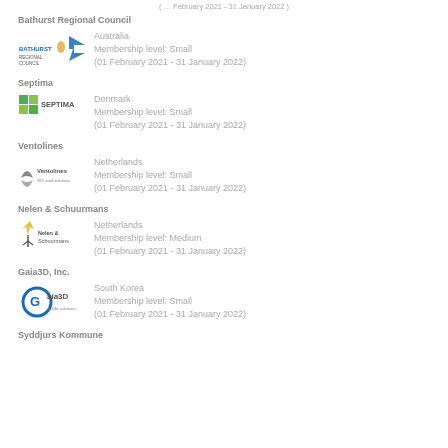(... February 2021 - 31 January 2022)
Bathurst Regional Council
Australia
Membership level: Small
(01 February 2021 - 31 January 2022)
Septima
Denmark
Membership level: Small
(01 February 2021 - 31 January 2022)
Ventolines
Netherlands
Membership level: Small
(01 February 2021 - 31 January 2022)
Nelen & Schuurmans
Netherlands
Membership level: Medium
(01 February 2021 - 31 January 2022)
Gaia3D, Inc.
South Korea
Membership level: Small
(01 February 2021 - 31 January 2022)
Syddjurs Kommune